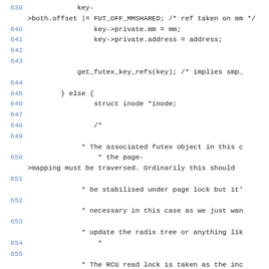Source code listing lines 639–655, C kernel code snippet involving futex key handling